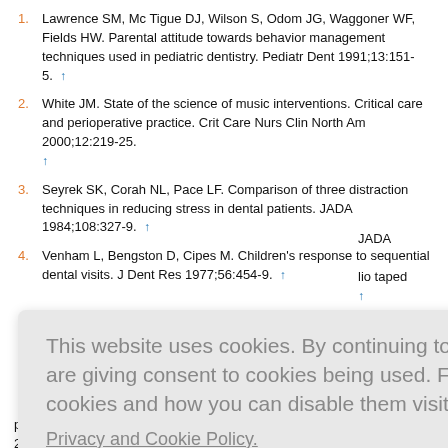Lawrence SM, Mc Tigue DJ, Wilson S, Odom JG, Waggoner WF, Fields HW. Parental attitude towards behavior management techniques used in pediatric dentistry. Pediatr Dent 1991;13:151-5. ↑
White JM. State of the science of music interventions. Critical care and perioperative practice. Crit Care Nurs Clin North Am 2000;12:219-25. ↑
Seyrek SK, Corah NL, Pace LF. Comparison of three distraction techniques in reducing stress in dental patients. JADA 1984;108:327-9. ↑
Venham L, Bengston D, Cipes M. Children's response to sequential dental visits. J Dent Res 1977;56:454-9. ↑
This website uses cookies. By continuing to use this website you are giving consent to cookies being used. For information on cookies and how you can disable them visit our
Privacy and Cookie Policy.
AGREE & PROCEED